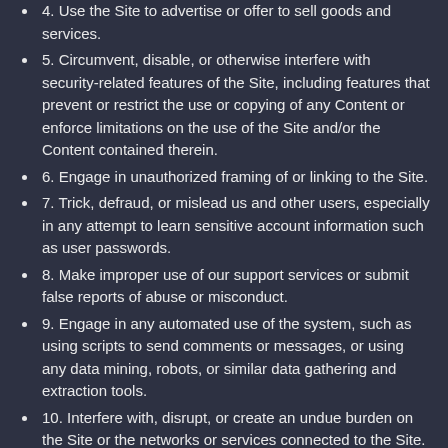4. Use the Site to advertise or offer to sell goods and services.
5. Circumvent, disable, or otherwise interfere with security-related features of the Site, including features that prevent or restrict the use or copying of any Content or enforce limitations on the use of the Site and/or the Content contained therein.
6. Engage in unauthorized framing of or linking to the Site.
7. Trick, defraud, or mislead us and other users, especially in any attempt to learn sensitive account information such as user passwords.
8. Make improper use of our support services or submit false reports of abuse or misconduct.
9. Engage in any automated use of the system, such as using scripts to send comments or messages, or using any data mining, robots, or similar data gathering and extraction tools.
10. Interfere with, disrupt, or create an undue burden on the Site or the networks or services connected to the Site.
11. Attempt to impersonate another user or person or use the username of another user.
12. Sell or otherwise transfer your profile.